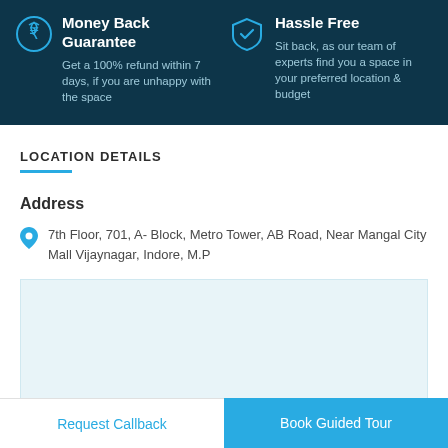Money Back Guarantee — Get a 100% refund within 7 days, if you are unhappy with the space
Hassle Free — Sit back, as our team of experts find you a space in your preferred location & budget
LOCATION DETAILS
Address
7th Floor, 701, A- Block, Metro Tower, AB Road, Near Mangal City Mall Vijaynagar, Indore, M.P
[Figure (map): Map placeholder showing location]
Request Callback
Book Guided Tour